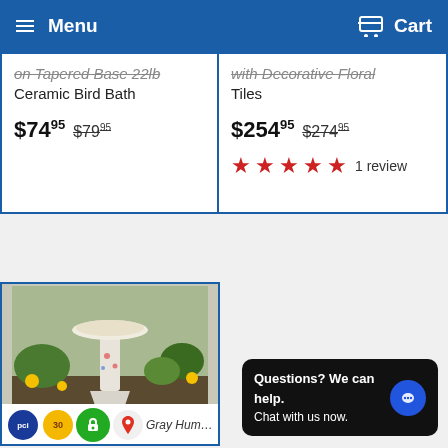Menu | Cart
on Tapered Base 22lb Ceramic Bird Bath
$74.95  $79.95
with Decorative Floral Tiles
$254.95  $274.95
★★★★★ 1 review
[Figure (photo): A white ceramic birdbath on a tapered pedestal base with floral decoration, set against a garden background with yellow flowers and green foliage.]
Gray Hummingbird...
Questions? We can help. Chat with us now.